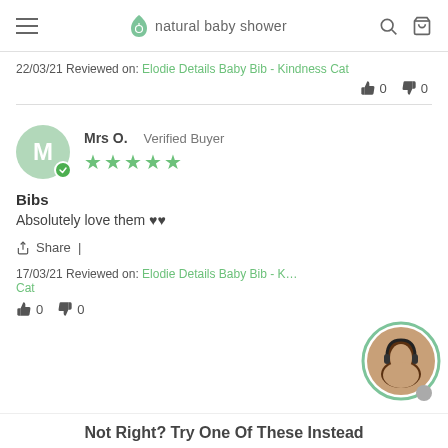natural baby shower
22/03/21 Reviewed on: Elodie Details Baby Bib - Kindness Cat
👍 0  👎 0
Mrs O.  Verified Buyer
★★★★★
Bibs
Absolutely love them ♥♥
Share |
17/03/21 Reviewed on: Elodie Details Baby Bib - Kindness Cat
👍 0  👎 0
Not Right? Try One Of These Instead